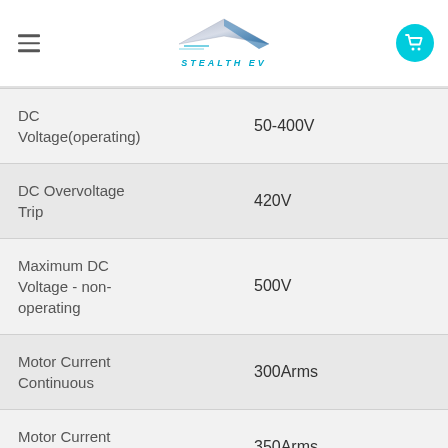STEALTH EV
| Parameter | Value |
| --- | --- |
| DC Voltage(operating) | 50-400V |
| DC Overvoltage Trip | 420V |
| Maximum DC Voltage - non-operating | 500V |
| Motor Current Continuous | 300Arms |
| Motor Current Peak | 350Arms |